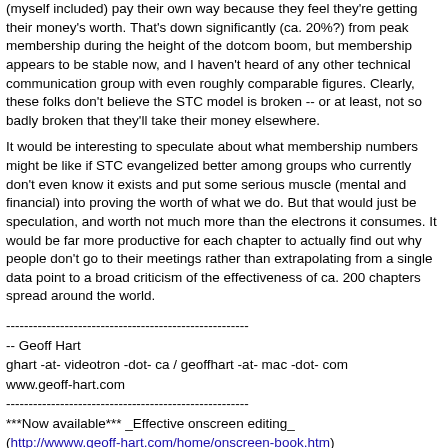(myself included) pay their own way because they feel they're getting their money's worth. That's down significantly (ca. 20%?) from peak membership during the height of the dotcom boom, but membership appears to be stable now, and I haven't heard of any other technical communication group with even roughly comparable figures. Clearly, these folks don't believe the STC model is broken -- or at least, not so badly broken that they'll take their money elsewhere.
It would be interesting to speculate about what membership numbers might be like if STC evangelized better among groups who currently don't even know it exists and put some serious muscle (mental and financial) into proving the worth of what we do. But that would just be speculation, and worth not much more than the electrons it consumes. It would be far more productive for each chapter to actually find out why people don't go to their meetings rather than extrapolating from a single data point to a broad criticism of the effectiveness of ca. 200 chapters spread around the world.
-- Geoff Hart
ghart -at- videotron -dot- ca / geoffhart -at- mac -dot- com
www.geoff-hart.com
***Now available*** _Effective onscreen editing_ (http://www.geoff-hart.com/home/onscreen-book.htm)
Print version: http://stores.lulu.com/store.php?fStoreID=1505747